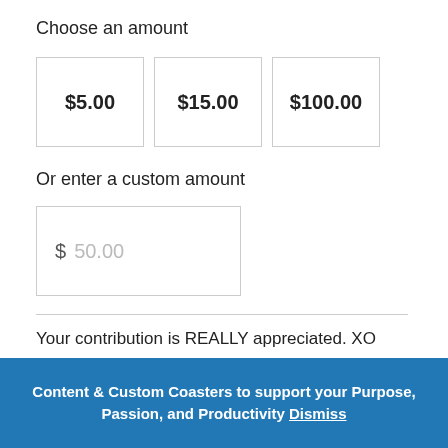Choose an amount
[Figure (other): Three donation amount buttons: $5.00, $15.00, $100.00]
Or enter a custom amount
[Figure (other): Custom amount input field with placeholder $ 50.00]
Your contribution is REALLY appreciated. XO
[Figure (other): Donate button (blue/light)]
Content & Custom Coasters to support your Purpose, Passion, and Productivity Dismiss